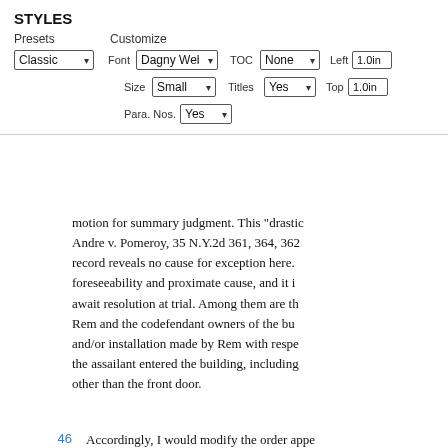STYLES
Presets  Customize  Classic  Font  Dagny Web  TOC  None  Left  1.0in  Size  Small  Titles  Yes  Top  1.0in  Para. Nos.  Yes
motion for summary judgment. This "drastic" remedy (Andre v. Pomeroy, 35 N.Y.2d 361, 364, 362 record reveals no cause for exception here. foreseeability and proximate cause, and it i await resolution at trial. Among them are th Rem and the codefendant owners of the bu and/or installation made by Rem with respe the assailant entered the building, including other than the front door.
46 Accordingly, I would modify the order appe second and third causes of action, and othe